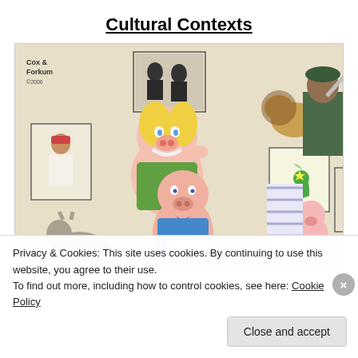Cultural Contexts
[Figure (illustration): A political cartoon by Cox & Forkum (2006) showing cartoon characters such as Miss Piggy, Porky Pig, and Piglet holding protest signs, alongside caricatures of various figures holding a sword and signs with political imagery.]
Privacy & Cookies: This site uses cookies. By continuing to use this website, you agree to their use.
To find out more, including how to control cookies, see here: Cookie Policy
Close and accept